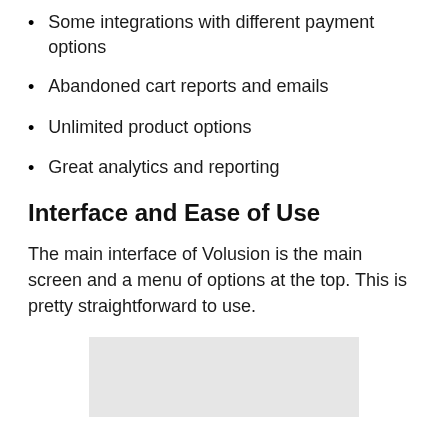Some integrations with different payment options
Abandoned cart reports and emails
Unlimited product options
Great analytics and reporting
Interface and Ease of Use
The main interface of Volusion is the main screen and a menu of options at the top. This is pretty straightforward to use.
[Figure (photo): Light gray placeholder image at the bottom of the page]